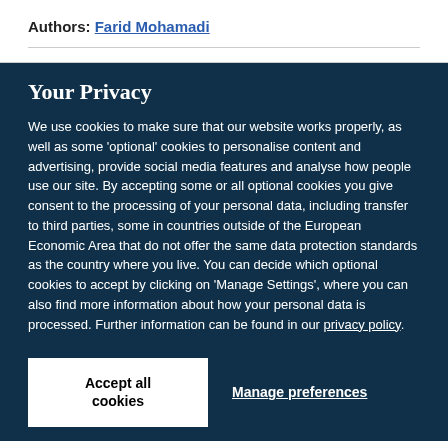Authors: Farid Mohamadi
Your Privacy
We use cookies to make sure that our website works properly, as well as some 'optional' cookies to personalise content and advertising, provide social media features and analyse how people use our site. By accepting some or all optional cookies you give consent to the processing of your personal data, including transfer to third parties, some in countries outside of the European Economic Area that do not offer the same data protection standards as the country where you live. You can decide which optional cookies to accept by clicking on 'Manage Settings', where you can also find more information about how your personal data is processed. Further information can be found in our privacy policy.
Accept all cookies
Manage preferences